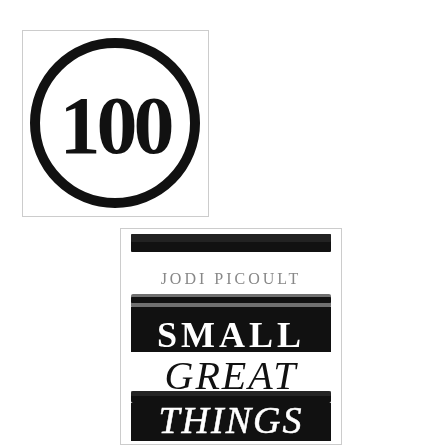[Figure (illustration): A circle with thick black border containing the number 100 in large serif bold font, inside a white square with thin border]
[Figure (illustration): Book cover for 'Small Great Things' by Jodi Picoult. Shows the author name 'JODI PICOULT' in gray serif text at top, followed by the title in large hand-lettered white text on black brush-stroke backgrounds: 'SMALL' on a black rectangle, 'GREAT THINGS' below in large script-like letters with black brush strokes]